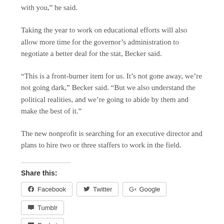with you,” he said.
Taking the year to work on educational efforts will also allow more time for the governor’s administration to negotiate a better deal for the stat, Becker said.
“This is a front-burner item for us. It’s not gone away, we’re not going dark,” Becker said. “But we also understand the political realities, and we’re going to abide by them and make the best of it.”
The new nonprofit is searching for an executive director and plans to hire two or three staffers to work in the field.
Share this:
Facebook  Twitter  Google  Tumblr  Pocket